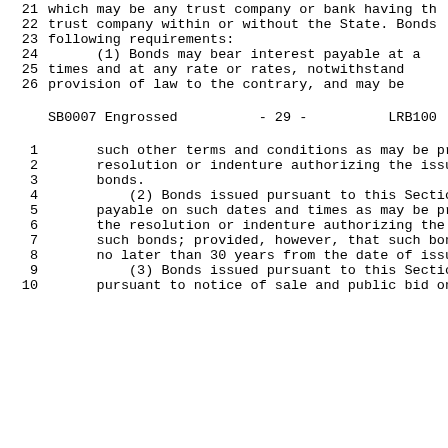21  which may be any trust company or bank having th
22  trust company within or without the State. Bonds
23  following requirements:
24      (1) Bonds may bear interest payable at a
25      times and at any rate or rates, notwithstand
26      provision of law to the contrary, and may be
SB0007 Engrossed          - 29 -          LRB100
1       such other terms and conditions as may be pr
2       resolution or indenture authorizing the issu
3       bonds.
4           (2) Bonds issued pursuant to this Sectio
5       payable on such dates and times as may be pr
6       the resolution or indenture authorizing the
7       such bonds; provided, however, that such bon
8       no later than 30 years from the date of issu
9           (3) Bonds issued pursuant to this Sectio
10      pursuant to notice of sale and public bid on